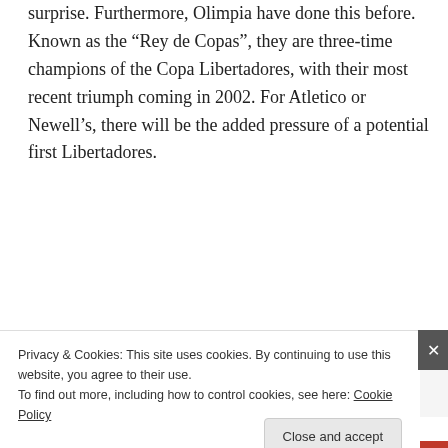surprise. Furthermore, Olimpia have done this before. Known as the “Rey de Copas”, they are three-time champions of the Copa Libertadores, with their most recent triumph coming in 2002. For Atletico or Newell’s, there will be the added pressure of a potential first Libertadores.
July 10, 2013  Opinion  Atlético-MG, Copa Libertadores, Cuca, Newell’s Old Boys, Olimpia  Leave a comment
Stick to what you know
Privacy & Cookies: This site uses cookies. By continuing to use this website, you agree to their use.
To find out more, including how to control cookies, see here: Cookie Policy